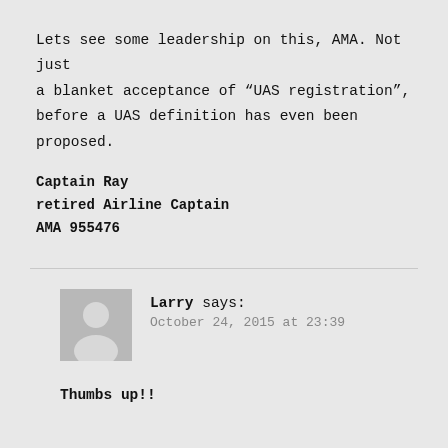Lets see some leadership on this, AMA. Not just a blanket acceptance of “UAS registration”, before a UAS definition has even been proposed.
Captain Ray
retired Airline Captain
AMA 955476
Larry says:
October 24, 2015 at 23:39
Thumbs up!!